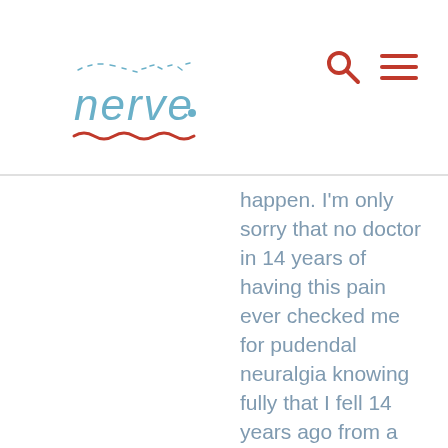nerve
happen. I'm only sorry that no doctor in 14 years of having this pain ever checked me for pudendal neuralgia knowing fully that I fell 14 years ago from a very high height right onto my buttocks. It was that week my pain came on. So I'm truly sorry